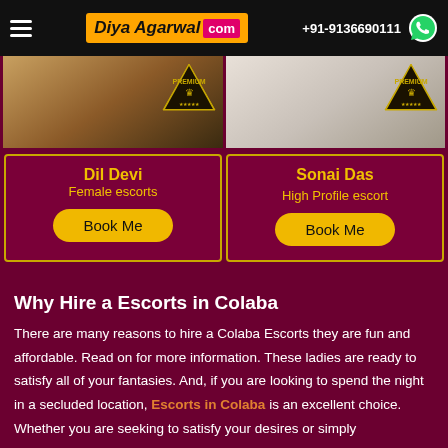Diya Agarwal .com | +91-9136690111
[Figure (photo): Two escort profile photos side by side with PREMIUM badges]
Dil Devi
Female escorts
Book Me
Sonai Das
High Profile escort
Book Me
Why Hire a Escorts in Colaba
There are many reasons to hire a Colaba Escorts they are fun and affordable. Read on for more information. These ladies are ready to satisfy all of your fantasies. And, if you are looking to spend the night in a secluded location, Escorts in Colaba is an excellent choice. Whether you are seeking to satisfy your desires or simply